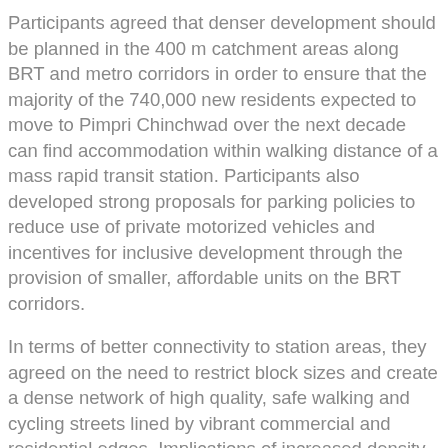Participants agreed that denser development should be planned in the 400 m catchment areas along BRT and metro corridors in order to ensure that the majority of the 740,000 new residents expected to move to Pimpri Chinchwad over the next decade can find accommodation within walking distance of a mass rapid transit station. Participants also developed strong proposals for parking policies to reduce use of private motorized vehicles and incentives for inclusive development through the provision of smaller, affordable units on the BRT corridors.
In terms of better connectivity to station areas, they agreed on the need to restrict block sizes and create a dense network of high quality, safe walking and cycling streets lined by vibrant commercial and residential edges. Implications of increased density on physical and social infrastructure need to be assessed. In addition, participants identified a need for better financial analysis of